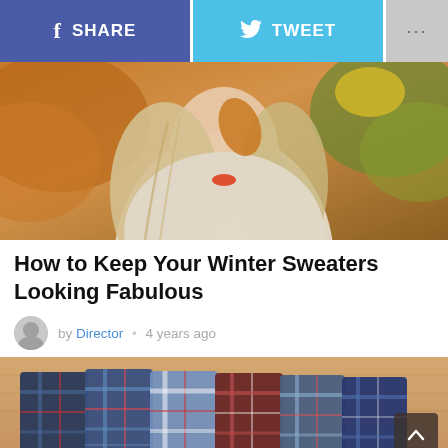[Figure (screenshot): Social share bar with Facebook SHARE button (blue-purple), Twitter TWEET button (light blue), and a gray more (...) button]
[Figure (photo): Young blonde woman wearing a cream knit sweater among autumn leaves, holding a leaf near her face]
How to Keep Your Winter Sweaters Looking Fabulous
by Director • 4 years ago
[Figure (photo): Several folded plaid flannel shirts in various blue, red, and white patterns arranged on a wooden surface]